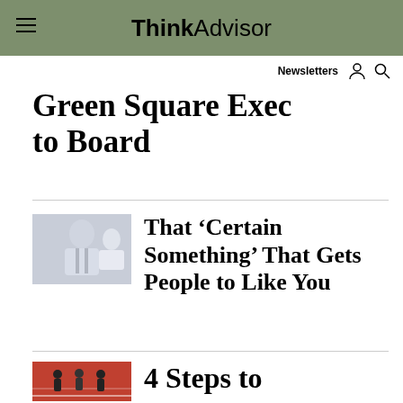ThinkAdvisor
Green Square Exec to Board
[Figure (photo): Business person in suit with handshake or similar professional image]
That ‘Certain Something’ That Gets People to Like You
[Figure (photo): People running on a track, competition scene]
4 Steps to